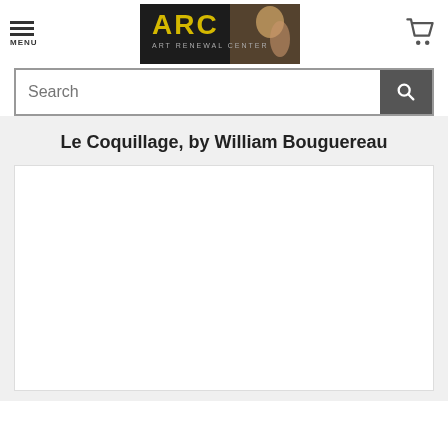[Figure (screenshot): Website header with hamburger menu icon and MENU text on the left, ARC Art Renewal Center logo in the center (dark background with yellow ARC text and figurative painting), and shopping cart icon on the right]
[Figure (screenshot): Search bar with placeholder text 'Search' and a dark search button with magnifying glass icon on the right]
Le Coquillage, by William Bouguereau
[Figure (photo): White/blank artwork image placeholder area for Le Coquillage by William Bouguereau]